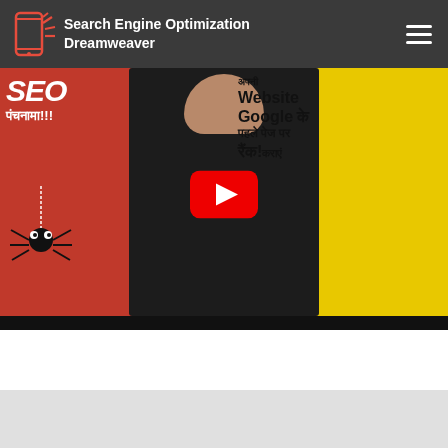Search Engine Optimization Dreamweaver
[Figure (screenshot): YouTube video thumbnail showing a man in black shirt against a red and yellow background with Hindi text 'SEO पंचनामा!!!' on the left and 'Website Google के पहले पेज पर रैंक! कराएं' on the right, with a YouTube play button overlay]
[Figure (screenshot): Partially visible second video thumbnail showing a person and monitor at the bottom of the page on a light gray background]